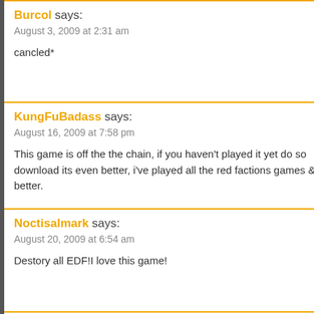Burcol says:
August 3, 2009 at 2:31 am
cancled*
KungFuBadass says:
August 16, 2009 at 7:58 pm
This game is off the the chain, if you haven't played it yet do so download its even better, i've played all the red factions games & better.
Noctisalmark says:
August 20, 2009 at 6:54 am
Destory all EDF!I love this game!